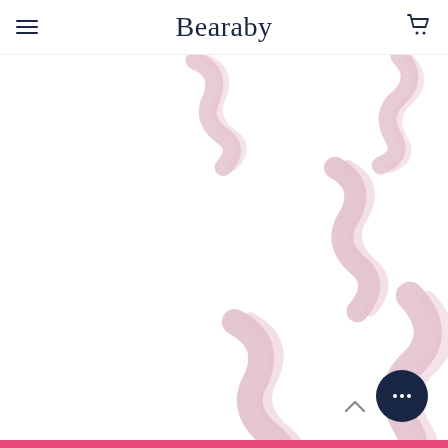[Figure (logo): Bearaby brand logo with hamburger menu icon on the left and shopping cart icon on the right in a white navigation header]
[Figure (illustration): Decorative background with pink ribbon/streamer confetti shapes scattered across a white background]
[Figure (other): Dark navy circular chat button with three dots (ellipsis) in the bottom right area, and a scroll-to-top chevron arrow]